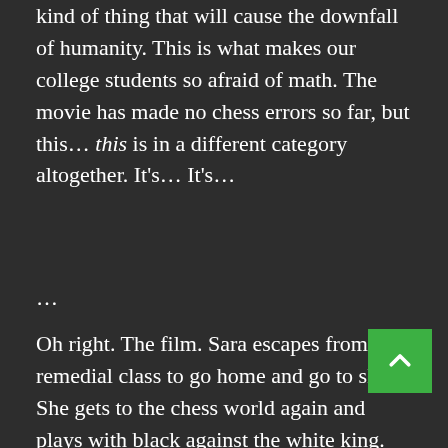you've written on the board, you are failing 101. This is the kind of thing that will cause the downfall of humanity. This is what makes our college students so afraid of math. The movie has made no chess errors so far, but this… this is in a different category altogether. It's… It's…
...
Oh right. The film. Sara escapes from her remedial class to go home and go to sleep. She gets to the chess world again and plays with black against the white king. The game goes as follows: 1. f3 e5 2. g4 Dh4#. Well, that was anticlimactic. Anyway, the king doesn't want to go to war anymore, so I guess this plotline has been resolved.
At school, the teacher is playing his simul. After some insisting, Sara is allowed to participate after all. During her